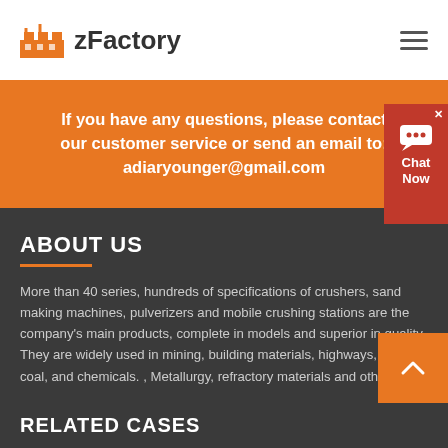zFactory
If you have any questions, please contact our customer service or send an email to: adiaryounger@gmail.com
ABOUT US
More than 40 series, hundreds of specifications of crushers, sand making machines, pulverizers and mobile crushing stations are the company's main products, complete in models and superior in quality. They are widely used in mining, building materials, highways, bridges, coal, and chemicals. , Metallurgy, refractory materials and other fields.
RELATED CASES